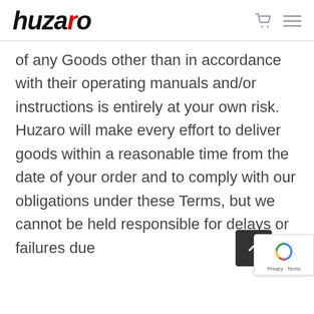huzaro
of any Goods other than in accordance with their operating manuals and/or instructions is entirely at your own risk. Huzaro will make every effort to deliver goods within a reasonable time from the date of your order and to comply with our obligations under these Terms, but we cannot be held responsible for delays or failures due